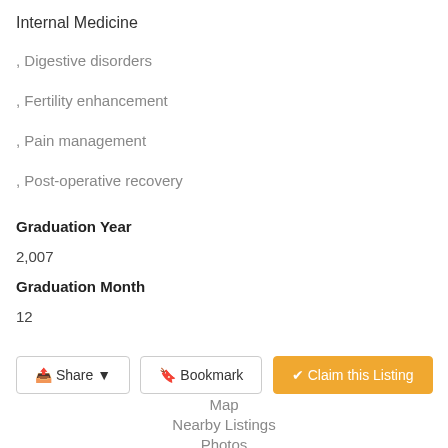Internal Medicine
, Digestive disorders
, Fertility enhancement
, Pain management
, Post-operative recovery
Graduation Year
2,007
Graduation Month
12
Share | Bookmark | Claim this Listing
Map
Nearby Listings
Photos